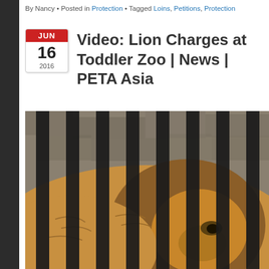By Nancy • Posted in Protection • Tagged Loins, Petitions, Protection
Video: Lion Charges at Toddler Zoo | News | PETA Asia
[Figure (photo): A lion resting behind thick black vertical bars in a zoo enclosure, viewed close-up through the bars. The lion's tawny mane and face are visible between the bars, with a stone wall in the background.]